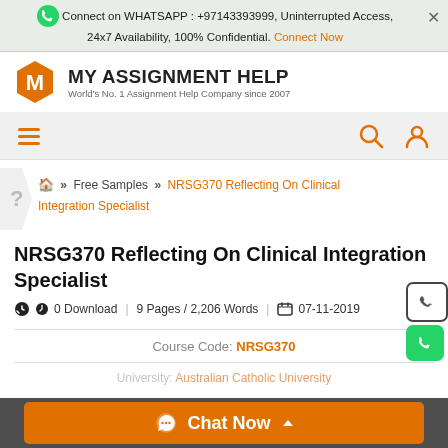Connect on WHATSAPP : +97143393999, Uninterrupted Access, 24x7 Availability, 100% Confidential. Connect Now
[Figure (logo): MY ASSIGNMENT HELP logo with orange hexagon M icon. Tagline: World's No. 1 Assignment Help Company since 2007]
[Figure (infographic): Navigation bar with hamburger menu (orange), search icon (orange), and user/account icon (orange)]
Free Samples » NRSG370 Reflecting On Clinical Integration Specialist
NRSG370 Reflecting On Clinical Integration Specialist
0 Download | 9 Pages / 2,206 Words | 07-11-2019
Course Code: NRSG370
University: Australian Catholic University
[Figure (infographic): Orange Chat Now button bar at the bottom of the page]